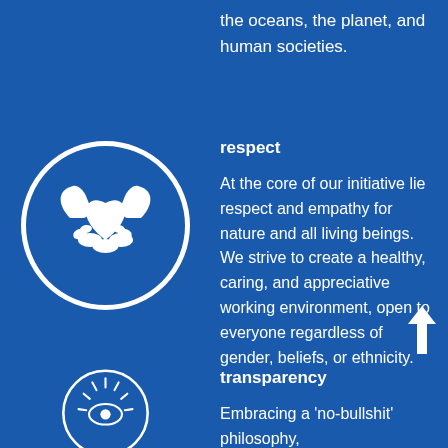the oceans, the planet, and human societies.
[Figure (illustration): White handshake-heart icon inside a white circle outline on blue background]
respect
At the core of our initiative lie respect and empathy for nature and all living beings. We strive to create a healthy, caring, and appreciative working environment, open to everyone regardless of gender, beliefs, or ethnicity.
[Figure (illustration): Partial white eye/sun icon inside white circle outline on blue background, cropped at bottom]
transparency
Embracing a 'no-bullshit' philosophy,